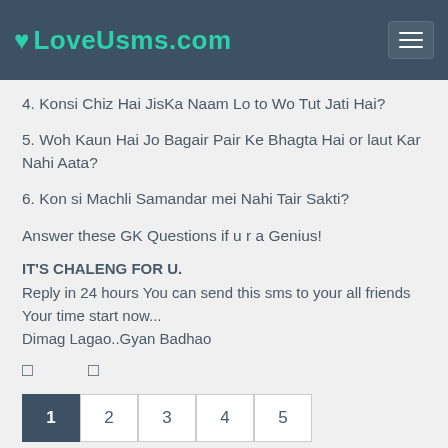LoveUsms.com
4. Konsi Chiz Hai JisKa Naam Lo to Wo Tut Jati Hai?
5. Woh Kaun Hai Jo Bagair Pair Ke Bhagta Hai or laut Kar Nahi Aata?
6. Kon si Machli Samandar mei Nahi Tair Sakti?
Answer these GK Questions if u r a Genius!
IT'S CHALENG FOR U.
Reply in 24 hours You can send this sms to your all friends Your time start now...
Dimag Lagao..Gyan Badhao
□  □
1  2  3  4  5